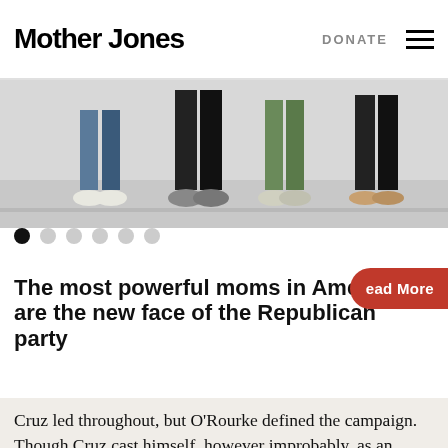Mother Jones   DONATE
[Figure (photo): Bottom halves of people standing, showing legs and feet with sneakers and sandals on a light background]
The most powerful moms in America are the new face of the Republican party
Cruz led throughout, but O'Rourke defined the campaign. Though Cruz cast himself, however improbably, as an ambassador of hope, his campaign and allied super-PACs set out to take down O'Rourke with a ruthlessness borne of urgency. Wary of a groundswell of Hispanic support, they